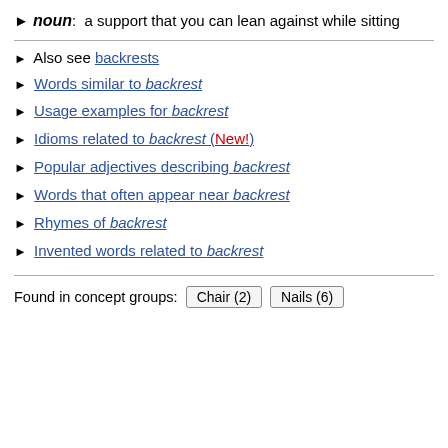▶ noun: a support that you can lean against while sitting
▶ Also see backrests
▶ Words similar to backrest
▶ Usage examples for backrest
▶ Idioms related to backrest (New!)
▶ Popular adjectives describing backrest
▶ Words that often appear near backrest
▶ Rhymes of backrest
▶ Invented words related to backrest
Found in concept groups: Chair (2) Nails (6)